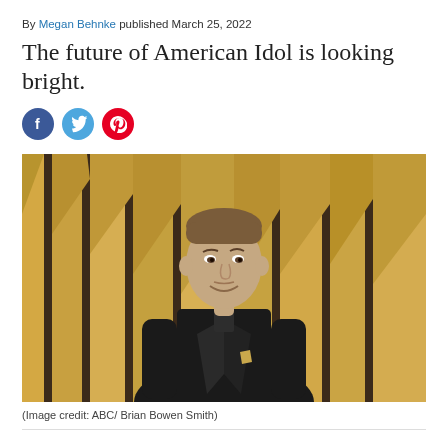By Megan Behnke published March 25, 2022
The future of American Idol is looking bright.
[Figure (photo): Social media share icons: Facebook (blue circle), Twitter (light blue circle), Pinterest (red circle)]
[Figure (photo): Man in black suit smiling, standing in front of gold paneled wall backdrop — Ryan Seacrest, American Idol host]
(Image credit: ABC/ Brian Bowen Smith)